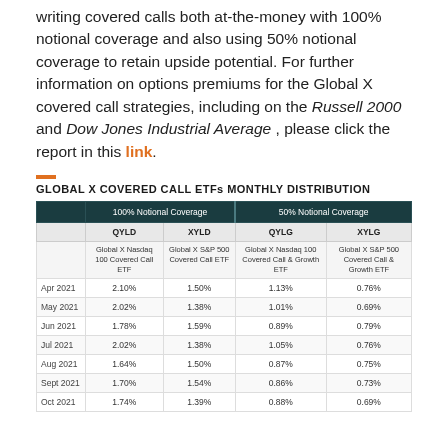writing covered calls both at-the-money with 100% notional coverage and also using 50% notional coverage to retain upside potential. For further information on options premiums for the Global X covered call strategies, including on the Russell 2000 and Dow Jones Industrial Average , please click the report in this link.
GLOBAL X COVERED CALL ETFs MONTHLY DISTRIBUTION
|  | 100% Notional Coverage |  | 50% Notional Coverage |  |
| --- | --- | --- | --- | --- |
|  | QYLD | XYLD | QYLG | XYLG |
|  | Global X Nasdaq 100 Covered Call ETF | Global X S&P 500 Covered Call ETF | Global X Nasdaq 100 Covered Call & Growth ETF | Global X S&P 500 Covered Call & Growth ETF |
| Apr 2021 | 2.10% | 1.50% | 1.13% | 0.76% |
| May 2021 | 2.02% | 1.38% | 1.01% | 0.69% |
| Jun 2021 | 1.78% | 1.59% | 0.89% | 0.79% |
| Jul 2021 | 2.02% | 1.38% | 1.05% | 0.76% |
| Aug 2021 | 1.64% | 1.50% | 0.87% | 0.75% |
| Sept 2021 | 1.70% | 1.54% | 0.86% | 0.73% |
| Oct 2021 | 1.74% | 1.39% | 0.88% | 0.69% |